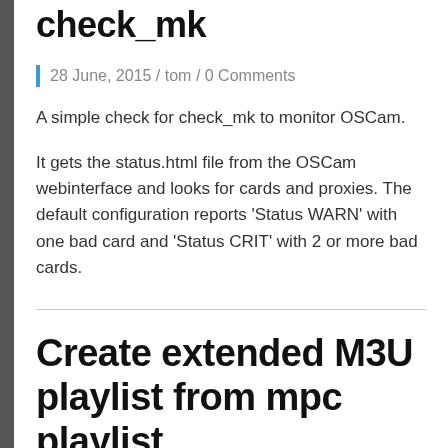Monitor OSCam with check_mk
28 June, 2015 / tom / 0 Comments
A simple check for check_mk to monitor OSCam.
It gets the status.html file from the OSCam webinterface and looks for cards and proxies. The default configuration reports ‘Status WARN’ with one bad card and ‘Status CRIT’ with 2 or more bad cards.
Create extended M3U playlist from mpc playlist